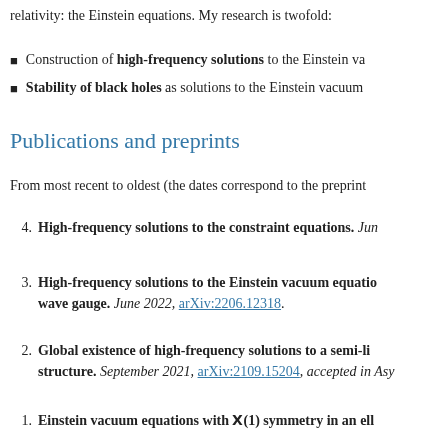relativity: the Einstein equations. My research is twofold:
Construction of high-frequency solutions to the Einstein va
Stability of black holes as solutions to the Einstein vacuum
Publications and preprints
From most recent to oldest (the dates correspond to the preprint
4. High-frequency solutions to the constraint equations. Jun
3. High-frequency solutions to the Einstein vacuum equatio wave gauge. June 2022, arXiv:2206.12318.
2. Global existence of high-frequency solutions to a semi-li structure. September 2021, arXiv:2109.15204, accepted in Asy
1. Einstein vacuum equations with U(1) symmetry in an ell